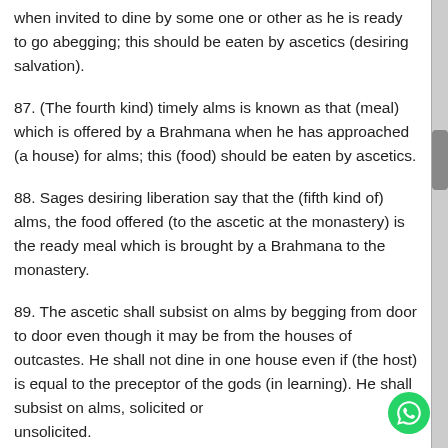when invited to dine by some one or other as he is ready to go abegging; this should be eaten by ascetics (desiring salvation).
87. (The fourth kind) timely alms is known as that (meal) which is offered by a Brahmana when he has approached (a house) for alms; this (food) should be eaten by ascetics.
88. Sages desiring liberation say that the (fifth kind of) alms, the food offered (to the ascetic at the monastery) is the ready meal which is brought by a Brahmana to the monastery.
89. The ascetic shall subsist on alms by begging from door to door even though it may be from the houses of outcastes. He shall not dine in one house even if (the host) is equal to the preceptor of the gods (in learning). He shall subsist on alms, solicited or unsolicited.
90. Air is not spoiled by touching (any object); fire by the